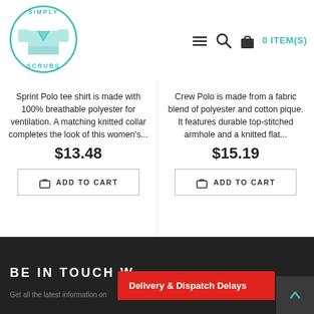[Figure (logo): Simply Scrubs circular logo with teal scrub shirt icon and text around the circle]
[Figure (infographic): Navigation bar icons: hamburger menu, search, shopping bag, and '0 ITEM(S)' text in teal]
Sprint Polo tee shirt is made with 100% breathable polyester for ventilation. A matching knitted collar completes the look of this women's...
$13.48
ADD TO CART
Crew Polo is made from a fabric blend of polyester and cotton pique. It features durable top-stitched armhole and a knitted flat...
$15.19
ADD TO CART
BE IN TOUCH W
Delivery & Dispatch Delays